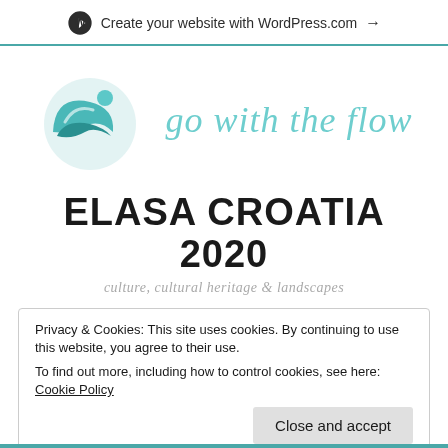Create your website with WordPress.com →
[Figure (logo): Wave/ocean logo in teal with the text 'go with the flow' in cursive teal font]
ELASA CROATIA 2020
culture, cultural heritage & landscapes
Privacy & Cookies: This site uses cookies. By continuing to use this website, you agree to their use.
To find out more, including how to control cookies, see here: Cookie Policy
Close and accept